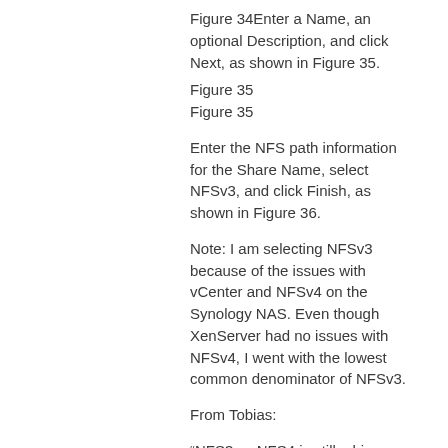Figure 34Enter a Name, an optional Description, and click Next, as shown in Figure 35.
Figure 35
Figure 35
Enter the NFS path information for the Share Name, select NFSv3, and click Finish, as shown in Figure 36.
Note: I am selecting NFSv3 because of the issues with vCenter and NFSv4 on the Synology NAS. Even though XenServer had no issues with NFSv4, I went with the lowest common denominator of NFSv3.
From Tobias:
“NFS3 vs NFS4 is still a big